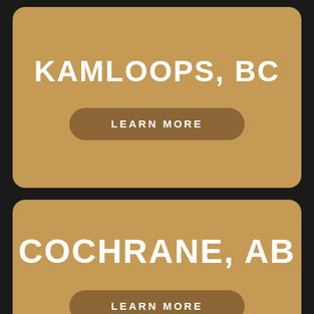KAMLOOPS, BC
LEARN MORE
COCHRANE, AB
LEARN MORE